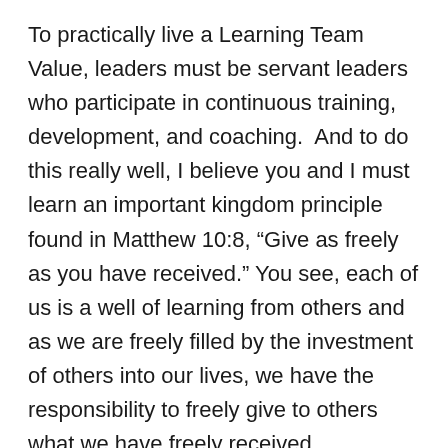To practically live a Learning Team Value, leaders must be servant leaders who participate in continuous training, development, and coaching.  And to do this really well, I believe you and I must learn an important kingdom principle found in Matthew 10:8, “Give as freely as you have received.” You see, each of us is a well of learning from others and as we are freely filled by the investment of others into our lives, we have the responsibility to freely give to others what we have freely received. Otherwise, you and I will become like the Dead Sea, dead and stagnate, always taking in, but never giving out. As Christ-followers, we are not designed to be takers only. No, we are designed to be givers like Jesus. However, none of us can give away what we don’t possess. Therefore, we must be life-long learners, continuously filling-up our well so that we have something to give to others of the kingdom.